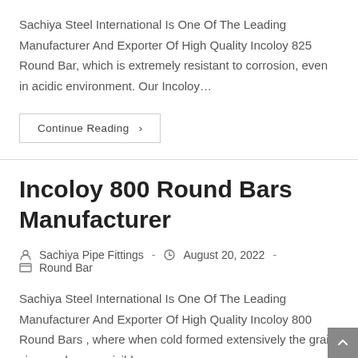Sachiya Steel International Is One Of The Leading Manufacturer And Exporter Of High Quality Incoloy 825 Round Bar, which is extremely resistant to corrosion, even in acidic environment. Our Incoloy…
Continue Reading ›
Incoloy 800 Round Bars Manufacturer
Sachiya Pipe Fittings  ·  August 20, 2022  ·  Round Bar
Sachiya Steel International Is One Of The Leading Manufacturer And Exporter Of High Quality Incoloy 800 Round Bars , where when cold formed extensively the grain size produces a visibly…